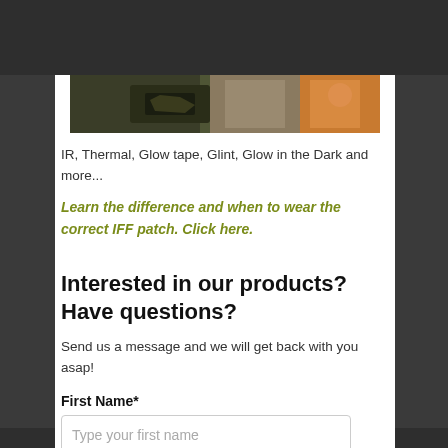[Figure (photo): Partial view of a person wearing military/tactical gear with patches, cropped at top of page]
IR, Thermal, Glow tape, Glint, Glow in the Dark and more...
Learn the difference and when to wear the correct IFF patch. Click here.
Interested in our products? Have questions?
Send us a message and we will get back with you asap!
First Name*
Type your first name
Last Name*